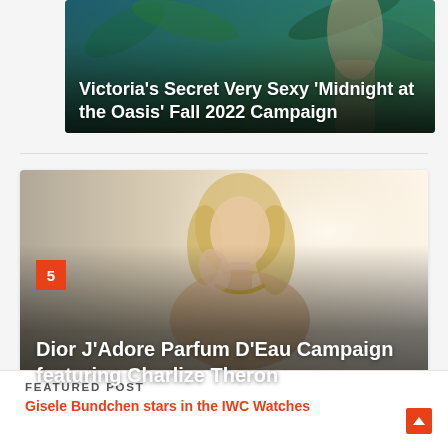[Figure (photo): Partial image card at top showing Victoria's Secret Very Sexy Midnight at the Oasis Fall 2022 Campaign with tropical background]
Victoria's Secret Very Sexy 'Midnight at the Oasis' Fall 2022 Campaign
[Figure (photo): Card with photo of Charlize Theron for Dior J'Adore Parfum D'Eau Campaign, blonde woman with gold necklace, number badge 5 in red, dark gradient overlay at bottom]
Dior J'Adore Parfum D'Eau Campaign featuring Charlize Theron
FEATURED POST
Gisele Bundchen stars in the IWC Watches Campaign